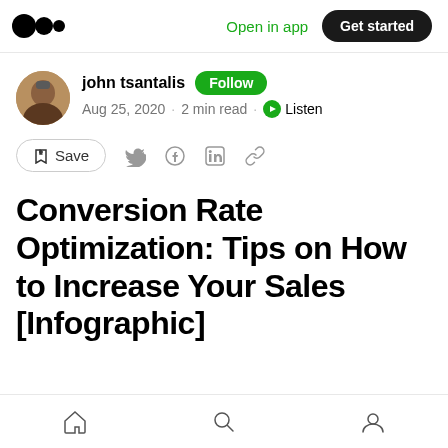Open in app · Get started
john tsantalis · Follow · Aug 25, 2020 · 2 min read · Listen
Save (bookmark icon, Twitter, Facebook, LinkedIn, link icons)
Conversion Rate Optimization: Tips on How to Increase Your Sales [Infographic]
Home · Search · Profile (bottom navigation)